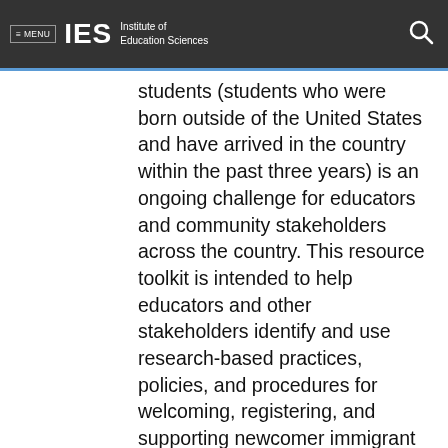≡ MENU  IES  Institute of Education Sciences
students (students who were born outside of the United States and have arrived in the country within the past three years) is an ongoing challenge for educators and community stakeholders across the country. This resource toolkit is intended to help educators and other stakeholders identify and use research-based practices, policies, and procedures for welcoming, registering, and supporting newcomer immigrant and refugee students who are attending school...